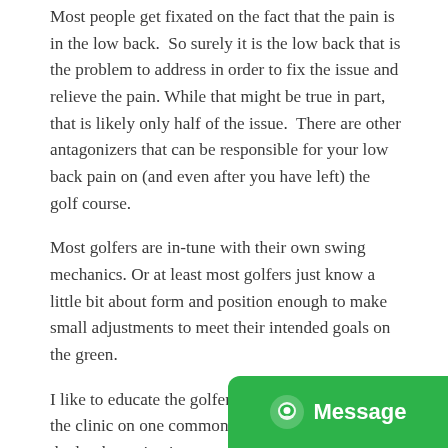Most people get fixated on the fact that the pain is in the low back. So surely it is the low back that is the problem to address in order to fix the issue and relieve the pain. While that might be true in part, that is likely only half of the issue. There are other antagonizers that can be responsible for your low back pain on (and even after you have left) the golf course.
Most golfers are in-tune with their own swing mechanics. Or at least most golfers just know a little bit about form and position enough to make small adjustments to meet their intended goals on the green.
I like to educate the golfer's that I see as patients in the clinic on one common subject. It is the fact that the lumbar spine just transfers the energy that your low body creates into your upper body during the golf swing. The lumbar spine is not meant to